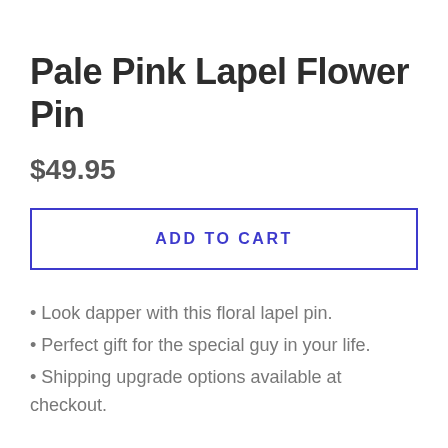Pale Pink Lapel Flower Pin
$49.95
ADD TO CART
Look dapper with this floral lapel pin.
Perfect gift for the special guy in your life.
Shipping upgrade options available at checkout.